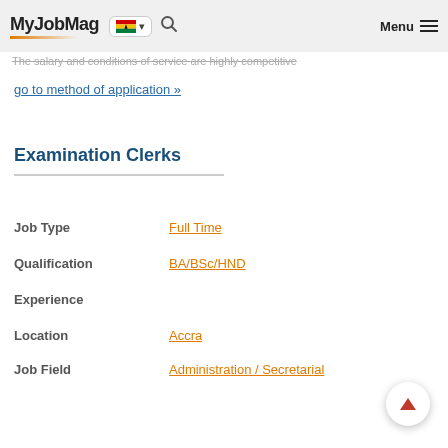MyJobMag — Menu
The salary and conditions of service are highly competitive
go to method of application »
Examination Clerks
Job Type: Full Time
Qualification: BA/BSc/HND
Experience
Location: Accra
Job Field: Administration / Secretarial